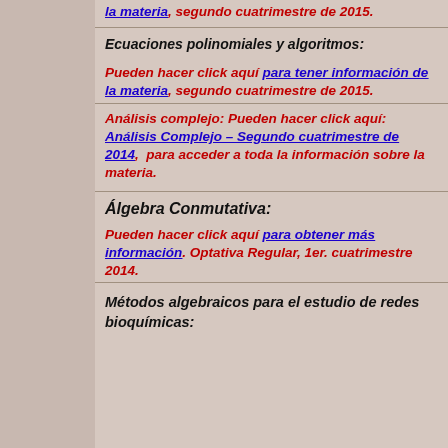la materia, segundo cuatrimestre de 2015.
Ecuaciones polinomiales y algoritmos:
Pueden hacer click aquí para tener información de la materia, segundo cuatrimestre de 2015.
Análisis complejo: Pueden hacer click aquí: Análisis Complejo – Segundo cuatrimestre de 2014, para acceder a toda la información sobre la materia.
Álgebra Conmutativa:
Pueden hacer click aquí para obtener más información. Optativa Regular, 1er. cuatrimestre 2014.
Métodos algebraicos para el estudio de redes bioquímicas: